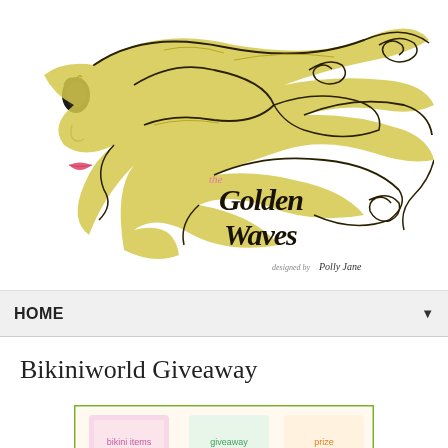[Figure (illustration): Stylized illustration of a woman's face with flowing golden wavy hair forming a decorative swirl pattern. Text within the waves reads 'the Golden Waves' in decorative script. Below reads 'designed by' followed by a signature.]
HOME
Bikiniworld Giveaway
[Figure (photo): Partial view of a product image with a green border, showing colorful items including what appears to be bikini-related merchandise.]